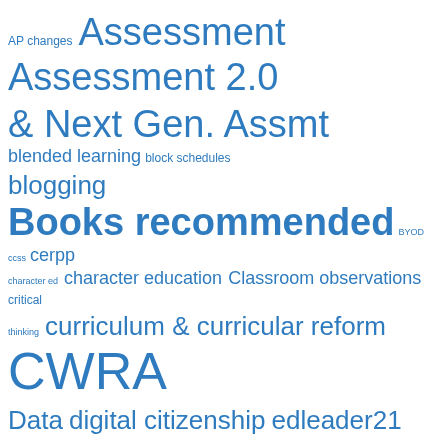[Figure (infographic): Tag cloud / word cloud featuring education-related terms in varying font sizes, all in blue. Terms include: AP changes, Assessment, Assessment 2.0 & Next Gen. Assmt, blended learning, block schedules, blogging, Books recommended, BYOD, ccss, cerpp, character ed, character education, Classroom observations, critical thinking, curriculum & curricular reform, CWRA, Data, digital citizenship, edleader21, Educating for Innovation, educon, Fablab, Finland education, flipped classroom, Greening Schools, Growth Mindset, HSSSE, information literacy, Innovation, Innovative schools, Laptops in Learning, Leadership ed., learning analytics, learning]